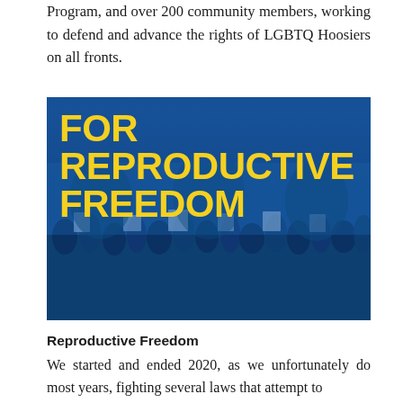Program, and over 200 community members, working to defend and advance the rights of LGBTQ Hoosiers on all fronts.
[Figure (photo): Blue-tinted photograph of a crowd of protesters holding signs at a rally, with bold yellow text overlay reading 'FOR REPRODUCTIVE FREEDOM']
Reproductive Freedom
We started and ended 2020, as we unfortunately do most years, fighting several laws that attempt to